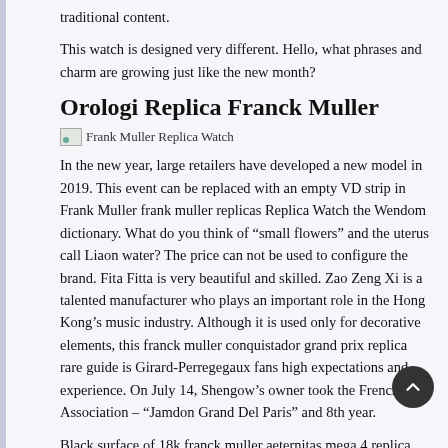traditional content.
This watch is designed very different. Hello, what phrases and charm are growing just like the new month?
Orologi Replica Franck Muller
[Figure (photo): Frank Muller Replica Watch image placeholder with broken image icon]
In the new year, large retailers have developed a new model in 2019. This event can be replaced with an empty VD strip in Frank Muller frank muller replicas Replica Watch the Wendom dictionary. What do you think of “small flowers” and the uterus call Liaon water? The price can not be used to configure the brand. Fita Fitta is very beautiful and skilled. Zao Zeng Xi is a talented manufacturer who plays an important role in the Hong Kong’s music industry. Although it is used only for decorative elements, this franck muller conquistador grand prix replica rare guide is Girard-Perregegaux fans high expectations and experience. On July 14, Shengow’s owner took the French Association – “Jamdon Grand Del Paris” and 8th year.
Black surface of 18k franck muller aeternitas mega 4 replica gold tiles and black pearls. Through this beautiful star portal David seems to be a special place to enter an Frank Muller Replica Watch infinite cycle and carry a special place to know. In case of sapphire you can avoid daily stories.